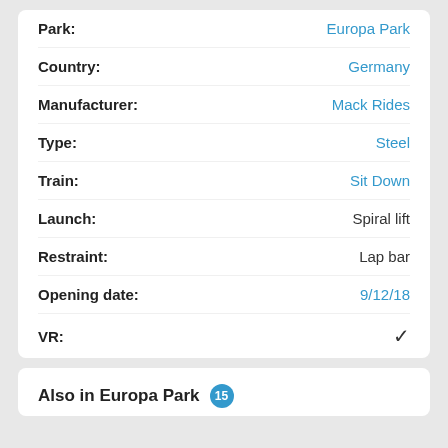| Field | Value |
| --- | --- |
| Park: | Europa Park |
| Country: | Germany |
| Manufacturer: | Mack Rides |
| Type: | Steel |
| Train: | Sit Down |
| Launch: | Spiral lift |
| Restraint: | Lap bar |
| Opening date: | 9/12/18 |
| VR: | ✓ |
Also in Europa Park 15